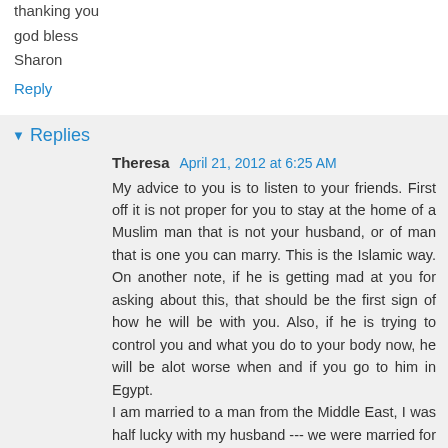thanking you
god bless
Sharon
Reply
Replies
Theresa  April 21, 2012 at 6:25 AM
My advice to you is to listen to your friends. First off it is not proper for you to stay at the home of a Muslim man that is not your husband, or of man that is one you can marry. This is the Islamic way. On another note, if he is getting mad at you for asking about this, that should be the first sign of how he will be with you. Also, if he is trying to control you and what you do to your body now, he will be alot worse when and if you go to him in Egypt.
I am married to a man from the Middle East, I was half lucky with my husband --- we were married for 2 1/2 years before he walked out on me and his step-children. He is from Palestine